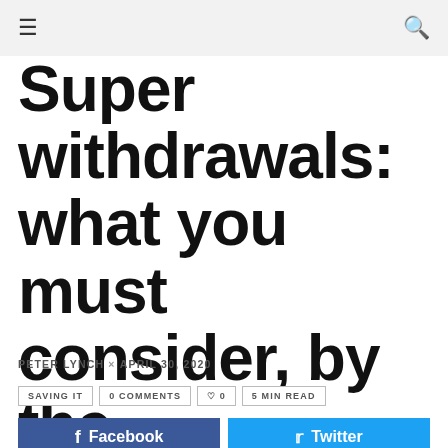≡  [search icon]
Super withdrawals: what you must consider, by the woman in charge
PETER LYNCH × APRIL 30, 2020
SAVING IT   0 COMMENTS   ♡ 0   5 MIN READ
Facebook   Twitter